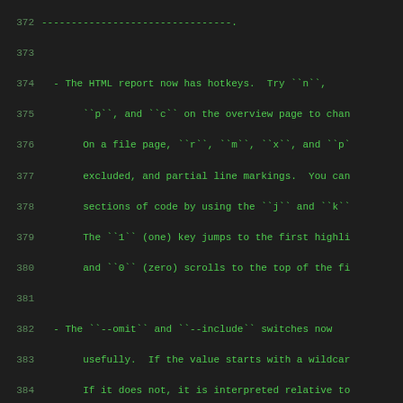372  --------------------------------.
373
374  - The HTML report now has hotkeys.  Try ``n``,
375       ``p``, and ``c`` on the overview page to chan
376       On a file page, ``r``, ``m``, ``x``, and ``p`
377       excluded, and partial line markings.  You can
378       sections of code by using the ``j`` and ``k``
379       The ``1`` (one) key jumps to the first highli
380       and ``0`` (zero) scrolls to the top of the fi
381
382  - The ``--omit`` and ``--include`` switches now
383       usefully.  If the value starts with a wildcar
384       If it does not, it is interpreted relative to
385       Closes `issue 121`_.
386
387  - Partial branch warnings can now be pragma'd a
388       ``partial_branches`` is a list of regular exp
389       those expressions will never be marked as a p
390       there's a built-in list of regular expression
391       never be marked as partial.  This list includ
392       ``if 1:``, and ``if 0:``.
393